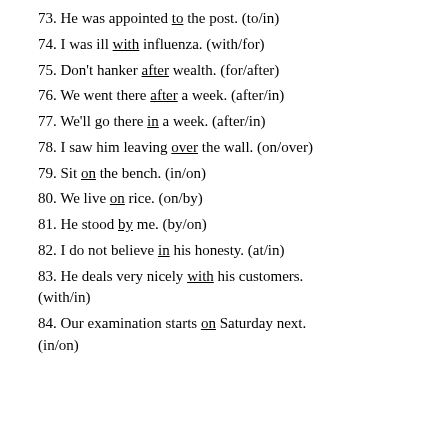73. He was appointed to the post. (to/in)
74. I was ill with influenza. (with/for)
75. Don't hanker after wealth. (for/after)
76. We went there after a week. (after/in)
77. We'll go there in a week. (after/in)
78. I saw him leaving over the wall. (on/over)
79. Sit on the bench. (in/on)
80. We live on rice. (on/by)
81. He stood by me. (by/on)
82. I do not believe in his honesty. (at/in)
83. He deals very nicely with his customers. (with/in)
84. Our examination starts on Saturday next. (in/on)